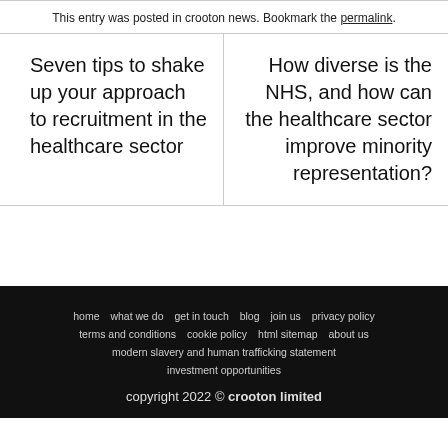This entry was posted in crooton news. Bookmark the permalink.
Seven tips to shake up your approach to recruitment in the healthcare sector
How diverse is the NHS, and how can the healthcare sector improve minority representation?
home   what we do   get in touch   blog   join us   privacy policy   terms and conditions   cookie policy   html sitemap   about us   modern slavery and human trafficking statement   investment opportunities   copyright 2022 © crooton limited